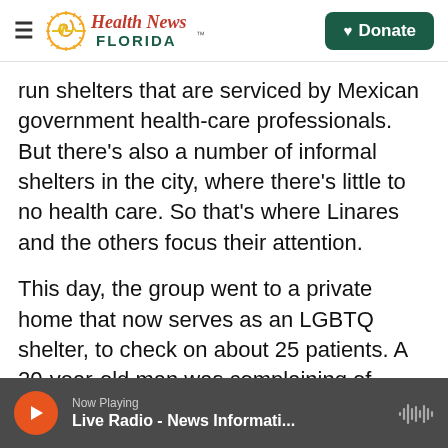Health News Florida
run shelters that are serviced by Mexican government health-care professionals. But there's also a number of informal shelters in the city, where there's little to no health care. So that's where Linares and the others focus their attention.
This day, the group went to a private home that now serves as an LGBTQ shelter, to check on about 25 patients. A 20-year-old man was complaining of tension headaches and body aches. One of the doctors, Lucy Horton, handed him Tylenol and asked him if he was stressed. He nodded his head.
Now Playing
Live Radio - News Informati...